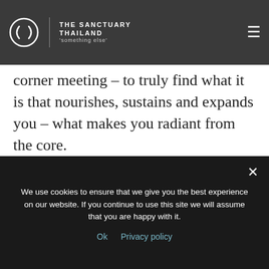THE SANCTUARY THAILAND 'something else'
corner meeting – to truly find what it is that nourishes, sustains and expands you – what makes you radiant from the core.

Learn ancient, traditional practices (sadhana) to foster and unleash the vital forces within you, cultivating the diamond (vajra) body – the power of luminosity, strength & clarity...your own unique radiance.
We use cookies to ensure that we give you the best experience on our website. If you continue to use this site we will assume that you are happy with it.
Ok   Privacy policy